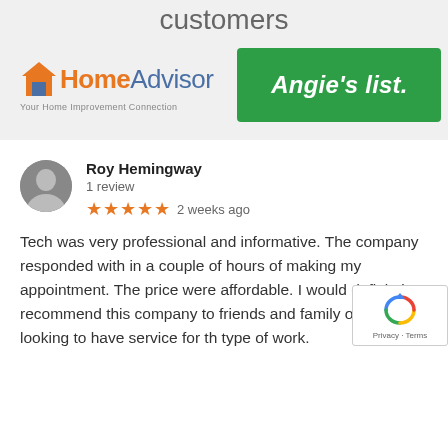customers
[Figure (logo): HomeAdvisor logo with house icon and tagline 'Your Home Improvement Connection']
[Figure (logo): Angie's List logo in green rectangle with white italic text]
Roy Hemingway
1 review
★★★★★  2 weeks ago
Tech was very professional and informative. The company responded with in a couple of hours of making my appointment. The price were affordable. I would definitely recommend this company to friends and family or anyone looking to have service for th type of work.